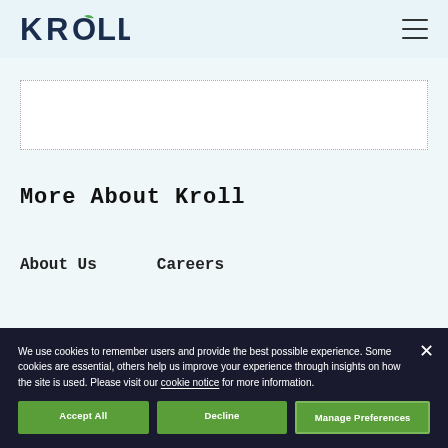KROLL
[Figure (other): Dotted border rectangle region, partially visible content]
More About Kroll
About Us
Careers
We use cookies to remember users and provide the best possible experience. Some cookies are essential, others help us improve your experience through insights on how the site is used. Please visit our cookie notice for more information.
Accept All   Decline   Manage Preferences